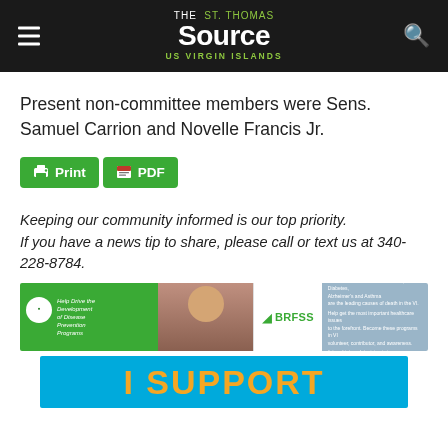The St. Thomas Source — US Virgin Islands
Present non-committee members were Sens. Samuel Carrion and Novelle Francis Jr.
[Figure (other): Green Print and PDF buttons side by side]
Keeping our community informed is our top priority. If you have a news tip to share, please call or text us at 340-228-8784.
[Figure (other): BRFSS advertisement banner — green section with Help Drive the Development of Disease Prevention Programs text, photo of smiling woman, BRFSS logo, and text about chronic diseases in Virgin Islands]
[Figure (other): Blue banner ad with orange text reading I SUPPORT]